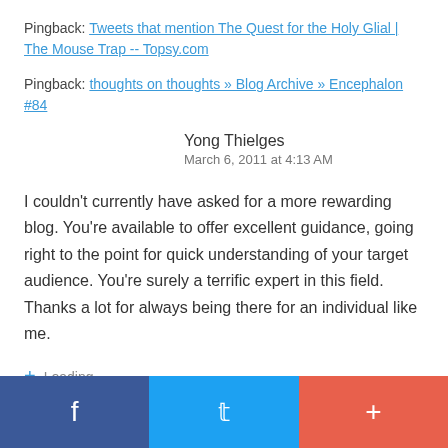Pingback: Tweets that mention The Quest for the Holy Glial | The Mouse Trap -- Topsy.com
Pingback: thoughts on thoughts » Blog Archive » Encephalon #84
Yong Thielges
March 6, 2011 at 4:13 AM
I couldn't currently have asked for a more rewarding blog. You're available to offer excellent guidance, going right to the point for quick understanding of your target audience. You're surely a terrific expert in this field. Thanks a lot for always being there for an individual like me.
+ Loading...